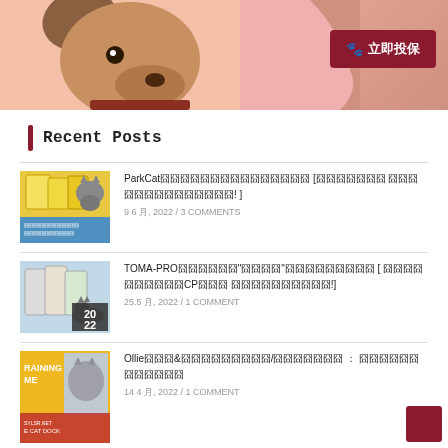[Figure (photo): Dog close-up photo with pink background and a red button '立即投保' (Insure Now) with paw icon]
Recent Posts
[Figure (photo): Thumbnail of yellow cat food packages with a cat and blue info strip at bottom]
ParkCat囧囧囧囧囧囧囧囧囧囧囧囧囧囧囧 [囧囧囧囧囧囧囧 囧囧囧囧囧囧囧囧囧囧囧囧囧囧! ]
9 6 月, 2022 / 3 COMMENTS
[Figure (photo): Thumbnail of cat food bags (TOMA-PRO) with cat lying down, 2022 overlay]
TOMA-PRO囧囧囧囧囧囧"囧囧囧囧"囧囧囧囧囧囧囧囧囧 [ 囧囧囧囧囧囧囧囧囧囧CP囧囧囧 囧囧囧囧囧囧囧囧囧囧!]
25.5 月, 2022 / 1 COMMENT
[Figure (photo): Thumbnail showing training book with yellow/orange cover and cat image]
Ollie囧囧囧&囧囧囧囧囧囧囧囧囧/囧囧囧囧囧囧囧 ： 囧囧囧囧囧囧囧囧囧囧囧囧
14 4 月, 2022 / 1 COMMENT